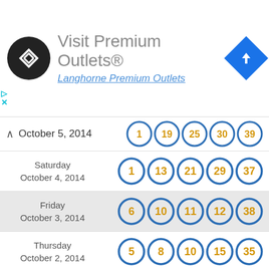[Figure (screenshot): Advertisement banner for Visit Premium Outlets with logo and navigation icon]
October 5, 2014 — partial row with balls: 1, 19, 25, 30, 39
| Date | Numbers |
| --- | --- |
| Saturday October 4, 2014 | 1, 13, 21, 29, 37 |
| Friday October 3, 2014 | 6, 10, 11, 12, 38 |
| Thursday October 2, 2014 | 5, 8, 10, 15, 35 |
| Wednesday October 1, 2014 | 13, 15, 17, 21, 29 |
| Tuesday September 30, 2014 | 3, 10, 15, 26, 31 |